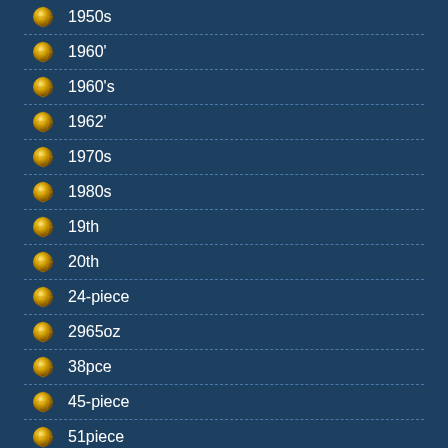1950s
1960'
1960's
1962'
1970s
1980s
19th
20th
24-piece
2965oz
38pce
45-piece
51piece
6-pc
62pc